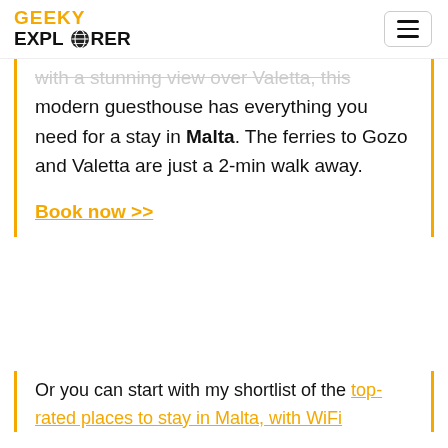GEEKY EXPLORER
with a stunning view over Valetta, this modern guesthouse has everything you need for a stay in Malta. The ferries to Gozo and Valetta are just a 2-min walk away.
Book now >>
Or you can start with my shortlist of the top-rated places to stay in Malta, with WiFi